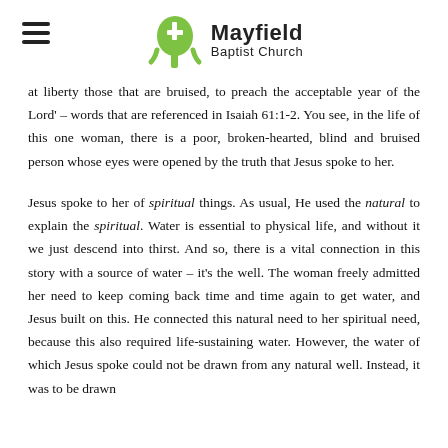Mayfield Baptist Church
at liberty those that are bruised, to preach the acceptable year of the Lord' – words that are referenced in Isaiah 61:1-2. You see, in the life of this one woman, there is a poor, broken-hearted, blind and bruised person whose eyes were opened by the truth that Jesus spoke to her.
Jesus spoke to her of spiritual things. As usual, He used the natural to explain the spiritual. Water is essential to physical life, and without it we just descend into thirst. And so, there is a vital connection in this story with a source of water – it's the well. The woman freely admitted her need to keep coming back time and time again to get water, and Jesus built on this. He connected this natural need to her spiritual need, because this also required life-sustaining water. However, the water of which Jesus spoke could not be drawn from any natural well. Instead, it was to be drawn